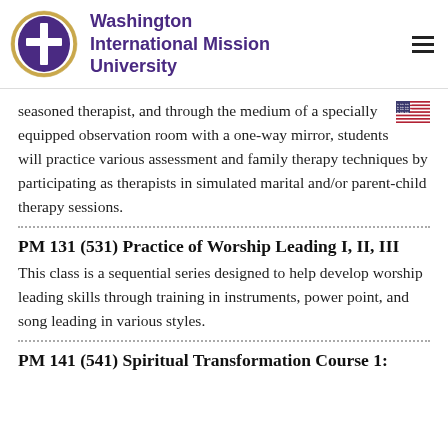Washington International Mission University
seasoned therapist, and through the medium of a specially equipped observation room with a one-way mirror, students will practice various assessment and family therapy techniques by participating as therapists in simulated marital and/or parent-child therapy sessions.
PM 131 (531) Practice of Worship Leading I, II, III
This class is a sequential series designed to help develop worship leading skills through training in instruments, power point, and song leading in various styles.
PM 141 (541) Spiritual Transformation Course 1: